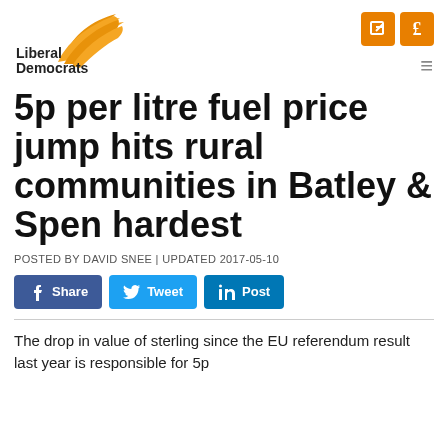Liberal Democrats
5p per litre fuel price jump hits rural communities in Batley & Spen hardest
POSTED BY DAVID SNEE | UPDATED 2017-05-10
Share | Tweet | Post
The drop in value of sterling since the EU referendum result last year is responsible for 5p